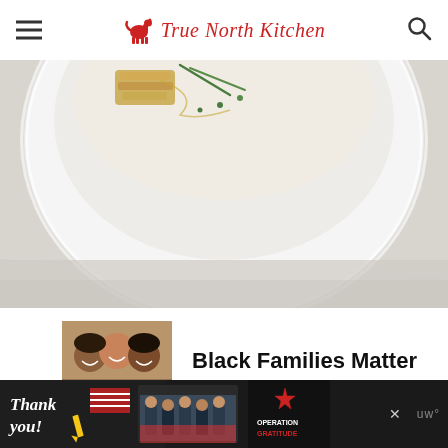True North Kitchen
[Figure (photo): Close-up photo of a white bowl containing a light-colored soup or puree, garnished with green chives, golden-brown crumbs, and drizzled oil, on a white marble surface]
[Figure (photo): Advertisement banner with photo of smiling diverse family faces and text 'Black Families Matter']
[Figure (photo): Bottom advertisement bar showing 'Thank you!' text with patriotic imagery and Operation Gratitude logo with military firefighters]